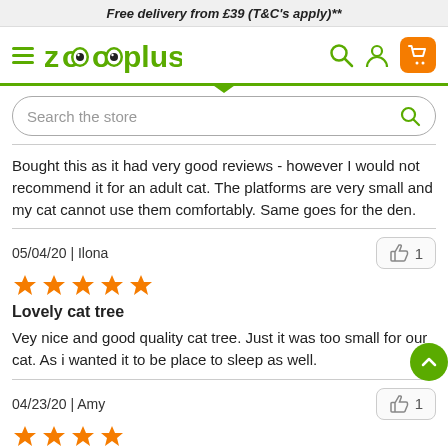Free delivery from £39 (T&C's apply)**
[Figure (logo): Zooplus logo with navigation bar including hamburger menu, search icon, user icon, and cart icon]
[Figure (screenshot): Search bar with text 'Search the store' and green search icon]
Bought this as it had very good reviews - however I would not recommend it for an adult cat. The platforms are very small and my cat cannot use them comfortably. Same goes for the den.
05/04/20 | Ilona
[Figure (illustration): 5 orange stars rating]
Lovely cat tree
Vey nice and good quality cat tree. Just it was too small for our cat. As i wanted it to be place to sleep as well.
04/23/20 | Amy
[Figure (illustration): 4 orange stars rating (partial, cut off at bottom)]